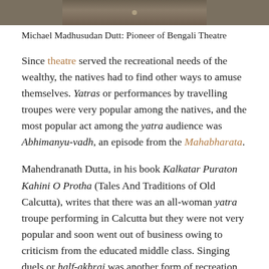[Figure (photo): Partial historical photograph, dark sepia-toned image strip]
Michael Madhusudan Dutt: Pioneer of Bengali Theatre
Since theatre served the recreational needs of the wealthy, the natives had to find other ways to amuse themselves. Yatras or performances by travelling troupes were very popular among the natives, and the most popular act among the yatra audience was Abhimanyu-vadh, an episode from the Mahabharata.
Mahendranath Dutta, in his book Kalkatar Puraton Kahini O Protha (Tales And Traditions of Old Calcutta), writes that there was an all-woman yatra troupe performing in Calcutta but they were not very popular and soon went out of business owing to criticism from the educated middle class. Singing duels or half-akhrai was another form of recreation